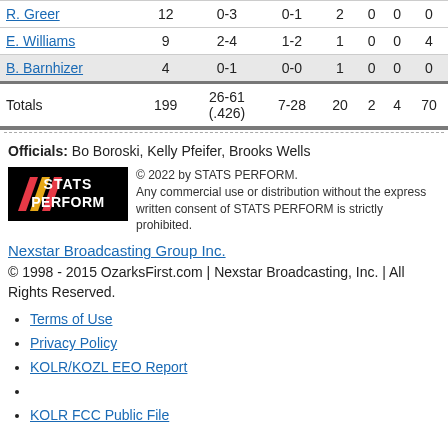| Player | Min | FG | FT | Reb | Ast | PF | Pts |
| --- | --- | --- | --- | --- | --- | --- | --- |
| R. Greer | 12 | 0-3 | 0-1 | 2 | 0 | 0 | 0 |
| E. Williams | 9 | 2-4 | 1-2 | 1 | 0 | 0 | 4 |
| B. Barnhizer | 4 | 0-1 | 0-0 | 1 | 0 | 0 | 0 |
| Totals | 199 | 26-61 (.426) | 7-28 | 20 | 2 | 4 | 70 |
Officials: Bo Boroski, Kelly Pfeifer, Brooks Wells
[Figure (logo): STATS PERFORM logo with colored slashes on black background]
© 2022 by STATS PERFORM. Any commercial use or distribution without the express written consent of STATS PERFORM is strictly prohibited.
Nexstar Broadcasting Group Inc.
© 1998 - 2015 OzarksFirst.com | Nexstar Broadcasting, Inc. | All Rights Reserved.
Terms of Use
Privacy Policy
KOLR/KOZL EEO Report
KOLR FCC Public File